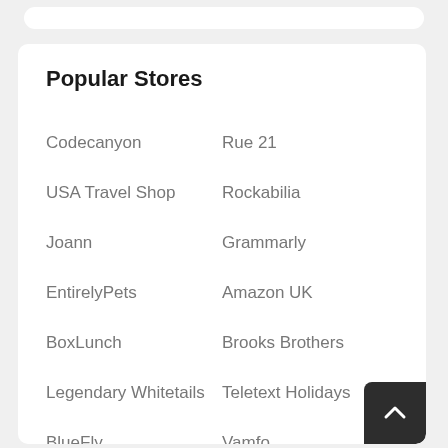Popular Stores
Codecanyon
Rue 21
USA Travel Shop
Rockabilia
Joann
Grammarly
EntirelyPets
Amazon UK
BoxLunch
Brooks Brothers
Legendary Whitetails
Teletext Holidays
BlueFly
Vamfo
Apple
WarrantyWise